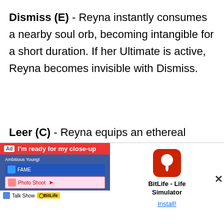Dismiss (E) - Reyna instantly consumes a nearby soul orb, becoming intangible for a short duration. If her Ultimate is active, Reyna becomes invisible with Dismiss.
Leer (C) - Reyna equips an ethereal destructible eye. ACTIVATE to cast the eye a short-distance forward. The eye will Nearsight all enemies who look at it, and it works through walls.
Ultimate Ability: Empress (X) - Reyna instantly enters a... and r...
[Figure (screenshot): Advertisement overlay for BitLife - Life Simulator app with a game UI screenshot on the left and the BitLife icon on the right, with an Install button.]